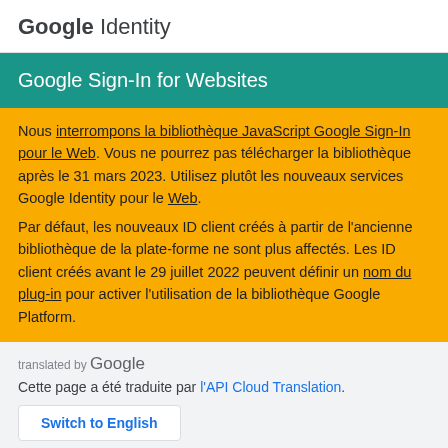Google Identity
Google Sign-In for Websites
Nous interrompons la bibliothèque JavaScript Google Sign-In pour le Web. Vous ne pourrez pas télécharger la bibliothèque après le 31 mars 2023. Utilisez plutôt les nouveaux services Google Identity pour le Web.
Par défaut, les nouveaux ID client créés à partir de l'ancienne bibliothèque de la plate-forme ne sont plus affectés. Les ID client créés avant le 29 juillet 2022 peuvent définir un nom du plug-in pour activer l'utilisation de la bibliothèque Google Platform.
translated by Google
Cette page a été traduite par l'API Cloud Translation.
Switch to English